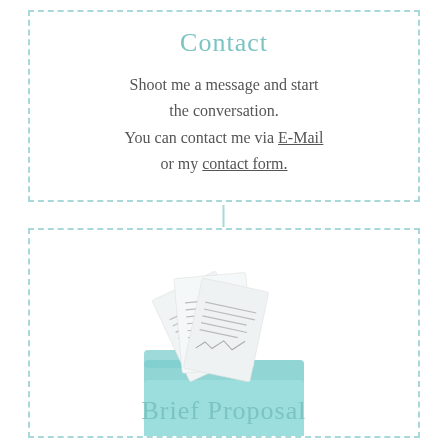Contact
Shoot me a message and start the conversation.
You can contact me via E-Mail or my contact form.
[Figure (illustration): An open teal/turquoise file folder with multiple white document pages fanning out of it, containing text and chart content.]
Brief Proposal